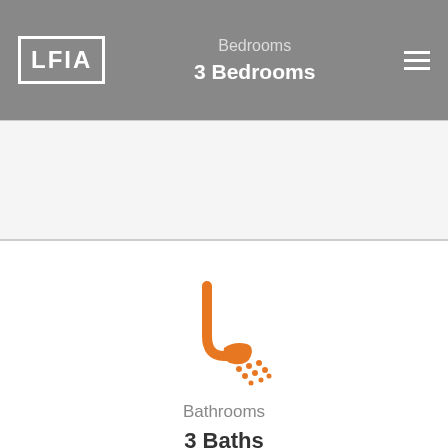LFIA — Bedrooms — 3 Bedrooms
[Figure (illustration): Shower head icon in orange, representing Bathrooms]
Bathrooms
3 Baths
[Figure (illustration): Area/expand corners icon in orange, representing Area]
Area
2,790 sqft